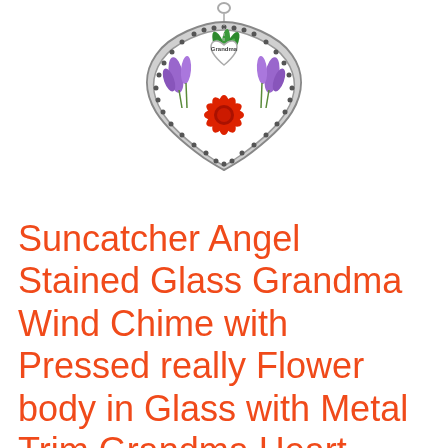[Figure (photo): A decorative suncatcher ornament with an ornate silver metal frame in a shield/medallion shape with dotted border. Inside the frame are pressed flowers including a red daisy/gerbera, purple lavender sprigs on both sides, and green leaves/ferns. A small silver heart charm labeled 'Grandma' hangs from the top center.]
Suncatcher Angel Stained Glass Grandma Wind Chime with Pressed really Flower body in Glass with Metal Trim Grandma Heart Charm - Gifts for Mother day for Mom Birthdays Valentine's Day Christmas